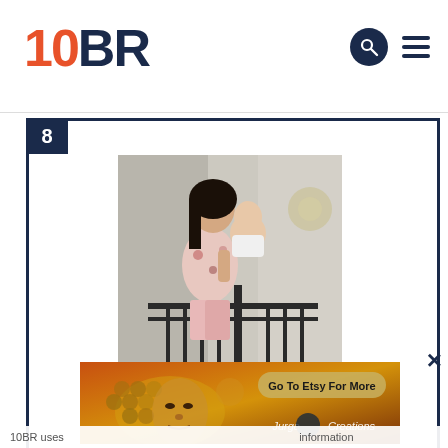10BR
8
[Figure (photo): A woman holding a baby stands behind a black metal stair gate in a modern home interior]
[Figure (photo): Advertisement banner for Jurga Creations on Etsy, featuring a decorative painting of a face with honeycomb patterns in orange/yellow tones. Button reads 'Go To Etsy For More']
10BR uses information